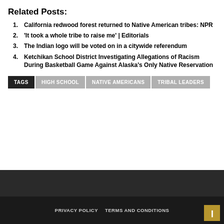Related Posts:
California redwood forest returned to Native American tribes: NPR
'It took a whole tribe to raise me' | Editorials
The Indian logo will be voted on in a citywide referendum
Ketchikan School District Investigating Allegations of Racism During Basketball Game Against Alaska's Only Native Reservation
TAGS  HIGH SCHOOL  NATIVE AMERICANS  TRIBAL LEADERS
PRIVACY POLICY   TERMS AND CONDITIONS